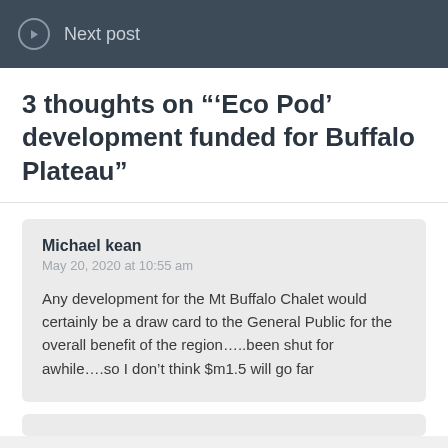Next post
3 thoughts on “'Eco Pod' development funded for Buffalo Plateau”
Michael kean
May 20, 2020 at 10:55 am

Any development for the Mt Buffalo Chalet would certainly be a draw card to the General Public for the overall benefit of the region…..been shut for awhile….so I don’t think $m1.5 will go far